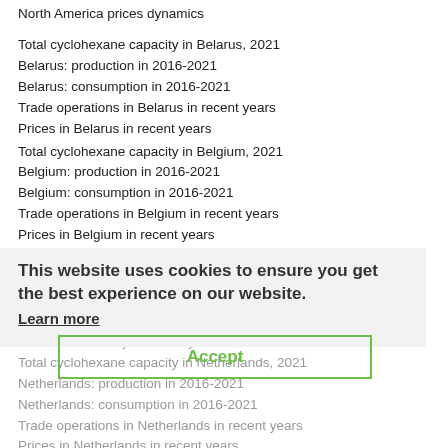North America prices dynamics
Total cyclohexane capacity in Belarus, 2021
Belarus: production in 2016-2021
Belarus: consumption in 2016-2021
Trade operations in Belarus in recent years
Prices in Belarus in recent years
Total cyclohexane capacity in Belgium, 2021
Belgium: production in 2016-2021
Belgium: consumption in 2016-2021
Trade operations in Belgium in recent years
Prices in Belgium in recent years
Total cyclohexane capacity in Germany, 2021
Germany: production in 2016-2021
Germany: consumption in 2016-2021
Trade operations in Germany in recent years
Prices in Germany in recent years
Total cyclohexane capacity in Netherlands, 2021
Netherlands: production in 2016-2021
Netherlands: consumption in 2016-2021
Trade operations in Netherlands in recent years
Prices in Netherlands in recent years
Total cyclohexane capacity in Poland, 2021
This website uses cookies to ensure you get the best experience on our website. Learn more
Accept